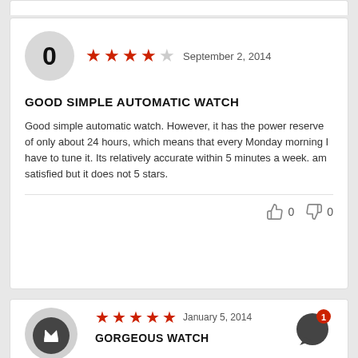Review card partial top
0 ★★★★☆ September 2, 2014
GOOD SIMPLE AUTOMATIC WATCH
Good simple automatic watch. However, it has the power reserve of only about 24 hours, which means that every Monday morning I have to tune it. Its relatively accurate within 5 minutes a week. am satisfied but it does not 5 stars.
👍 0   👎 0
★★★★★ January 5, 2014
GORGEOUS WATCH